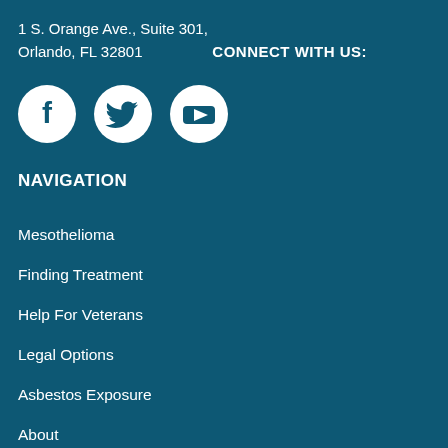1 S. Orange Ave., Suite 301, Orlando, FL 32801
CONNECT WITH US:
[Figure (illustration): Three social media icons in white circles on teal background: Facebook (f), Twitter (bird), YouTube (play button)]
NAVIGATION
Mesothelioma
Finding Treatment
Help For Veterans
Legal Options
Asbestos Exposure
About